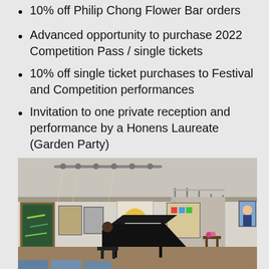10% off Philip Chong Flower Bar orders
Advanced opportunity to purchase 2022 Competition Pass / single tickets
10% off single ticket purchases to Festival and Competition performances
Invitation to one private reception and performance by a Honens Laureate (Garden Party)
[Figure (photo): Interior of an art gallery with a pianist playing a grand piano. The gallery features paintings on white walls, a staircase with glass railing, track lighting on the ceiling, and colorful artwork displayed throughout.]